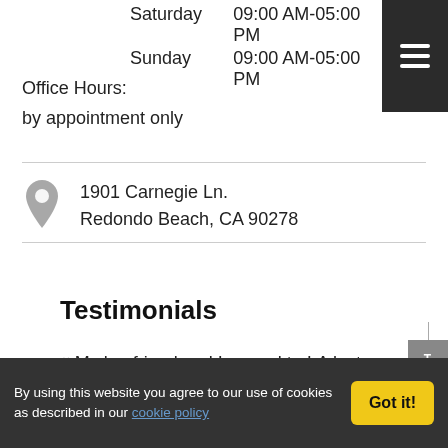Saturday   09:00 AM-05:00 PM
Sunday     09:00 AM-05:00 PM
Office Hours:
by appointment only
1901 Carnegie Ln.
Redondo Beach, CA 90278
Testimonials
My boyfriend and I moved to LA last year, and we rented out our first apartment through beach front. It was our first time moving out, so everything was very new to us. The online process was super easy, and although we've had
By using this website you agree to our use of cookies as described in our cookie policy